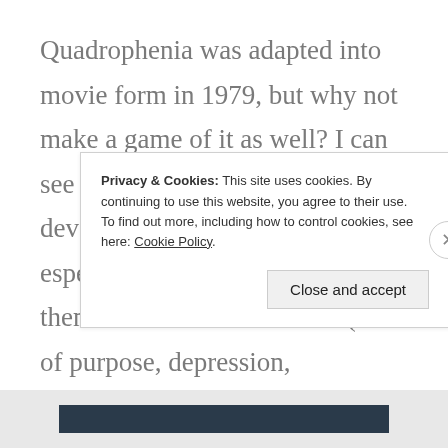Quadrophenia was adapted into movie form in 1979, but why not make a game of it as well? I can see it thriving in the indie game-developing community today, especially since a lot of the themes found on this album (lack of purpose, depression, existential angst) are also common themes in that sphere and among the younger
Privacy & Cookies: This site uses cookies. By continuing to use this website, you agree to their use.
To find out more, including how to control cookies, see here: Cookie Policy
Close and accept